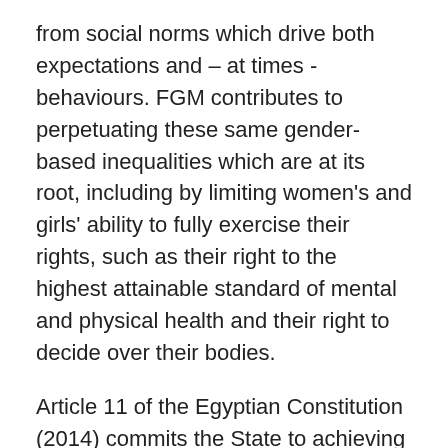from social norms which drive both expectations and – at times - behaviours. FGM contributes to perpetuating these same gender-based inequalities which are at its root, including by limiting women's and girls' ability to fully exercise their rights, such as their right to the highest attainable standard of mental and physical health and their right to decide over their bodies.
Article 11 of the Egyptian Constitution (2014) commits the State to achieving equality between women and men in all civil, political, economic, social, and cultural rights as well as to the protection of women from all forms of violence. Both globally and as reflected in